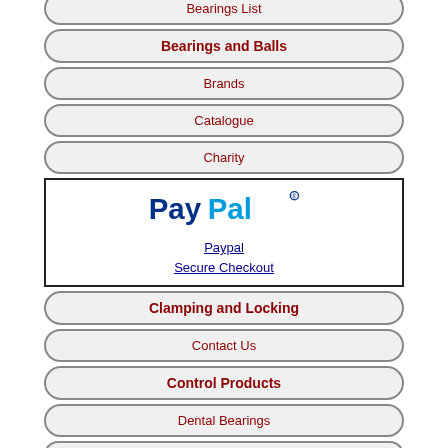Bearings List
Bearings and Balls
Brands
Catalogue
Charity
[Figure (logo): PayPal logo with blue and dark blue text, and Paypal Secure Checkout link below]
Clamping and Locking
Contact Us
Control Products
Dental Bearings